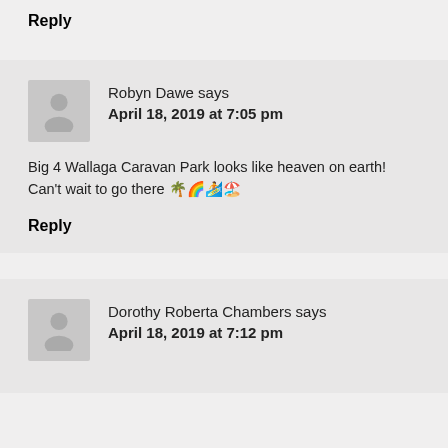Reply
Robyn Dawe says
April 18, 2019 at 7:05 pm
Big 4 Wallaga Caravan Park looks like heaven on earth! Can't wait to go there 🌴🌈🏄🏖️
Reply
Dorothy Roberta Chambers says
April 18, 2019 at 7:12 pm